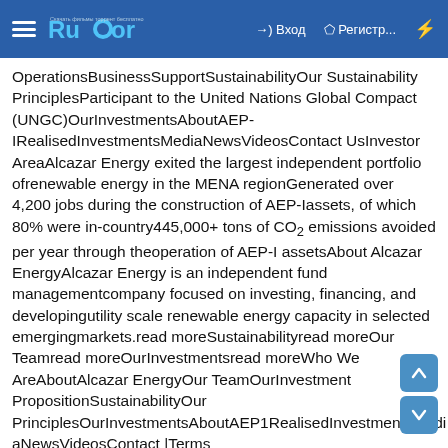Rutor — Вход — Регистр...
OperationsBusinessSupportSustainabilityOur SustainabilityPrinciplesParticipant to the United Nations Global Compact (UNGC)OurInvestmentsAboutAEP-IRealisedInvestmentsMediaNewsVideosContact UsInvestor AreaAlcazar Energy exited the largest independent portfolio ofrenewable energy in the MENA regionGenerated over 4,200 jobs during the construction of AEP-Iassets, of which 80% were in-country445,000+ tons of CO₂ emissions avoided per year through theoperation of AEP-I assetsAbout Alcazar EnergyAlcazar Energy is an independent fund managementcompany focused on investing, financing, and developingutility scale renewable energy capacity in selected emergingmarkets.read moreSustainabilityread moreOur Teamread moreOurInvestmentsread moreWho We AreAboutAlcazar EnergyOur TeamOurInvestment PropositionSustainabilityOur PrinciplesOurInvestmentsAboutAEP1RealisedInvestmentsMediaNewsVideosContact |Terms